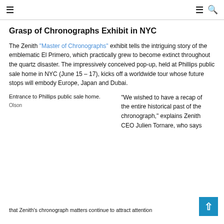≡  ≡ 🔍
Grasp of Chronographs Exhibit in NYC
The Zenith "Master of Chronographs" exhibit tells the intriguing story of the emblematic El Primero, which practically grew to become extinct throughout the quartz disaster. The impressively conceived pop-up, held at Phillips public sale home in NYC (June 15 – 17), kicks off a worldwide tour whose future stops will embody Europe, Japan and Dubai.
Entrance to Phillips public sale home.
Olson
"We wished to have a recap of the entire historical past of the chronograph," explains Zenith CEO Julien Tornare, who says
that Zenith's chronograph matters continue to attract attention